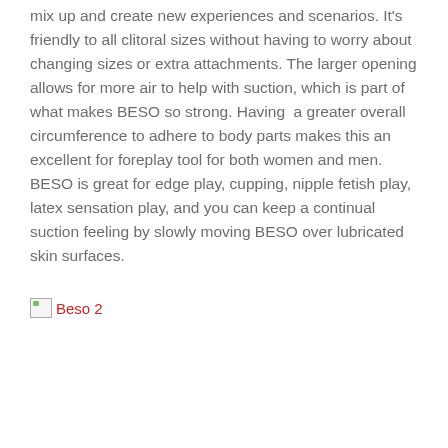mix up and create new experiences and scenarios. It's friendly to all clitoral sizes without having to worry about changing sizes or extra attachments. The larger opening allows for more air to help with suction, which is part of what makes BESO so strong. Having  a greater overall circumference to adhere to body parts makes this an excellent for foreplay tool for both women and men. BESO is great for edge play, cupping, nipple fetish play, latex sensation play, and you can keep a continual suction feeling by slowly moving BESO over lubricated skin surfaces.
[Figure (photo): Broken image placeholder labeled 'Beso 2']